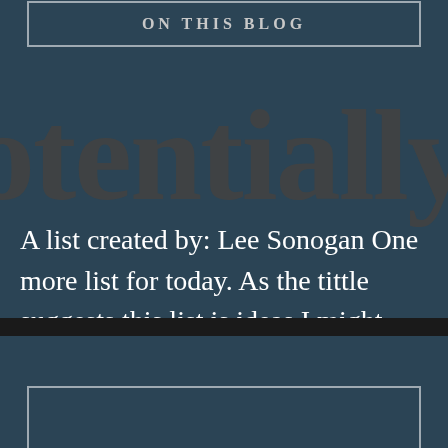ON THIS BLOG
[Figure (illustration): Large watermark background text reading 'otentially' (part of 'potentially') in large brownish serif letters on dark teal background]
A list created by: Lee Sonogan One more list for today. As the tittle suggests this list is ideas I might post in the future on this...
READ MORE →